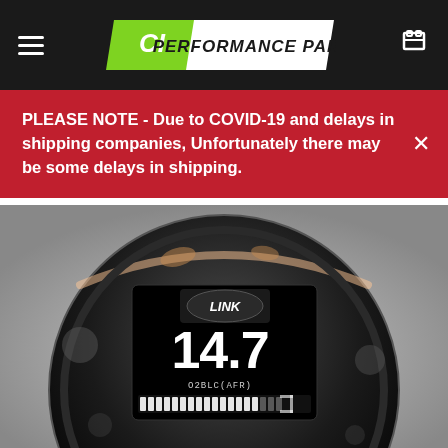CI Performance Parts.
PLEASE NOTE - Due to COVID-19 and delays in shipping companies, Unfortunately there may be some delays in shipping.
[Figure (photo): Close-up of a round black Link ECU gauge or display pod showing '14.7' on the screen, with O2BLC(AFR) label and a bar graph at the bottom. The gauge has a gloss black housing.]